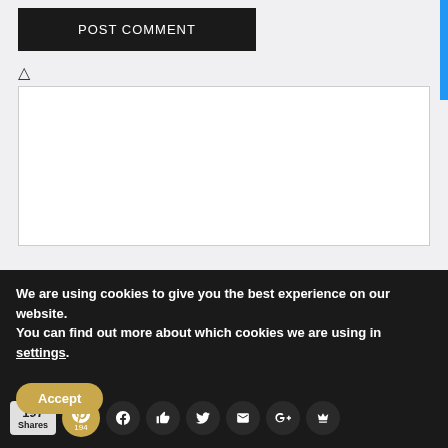[Figure (screenshot): POST COMMENT button in black, a text formatting icon, and an empty white comment textarea with resize handle, all on a light gray background. A blue vertical bar is visible on the right edge.]
We are using cookies to give you the best experience on our website.
You can find out more about which cookies we are using in settings.
[Figure (screenshot): Accept button in gold/tan color, followed by a row of social media icons (Pinterest with count 194, Facebook, Like/Thumbs up, Twitter, Email, Google+, Crown/other) and a shares badge showing 197 Shares.]